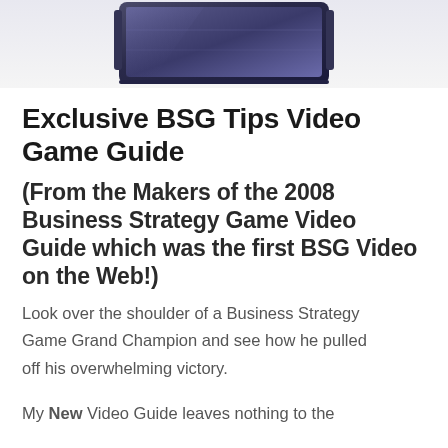[Figure (photo): Partial view of a dark-colored folding or tablet device shown from above, cropped at top of page]
Exclusive BSG Tips Video Game Guide
(From the Makers of the 2008 Business Strategy Game Video Guide which was the first BSG Video on the Web!)
Look over the shoulder of a Business Strategy Game Grand Champion and see how he pulled off his overwhelming victory.
My New Video Guide leaves nothing to the